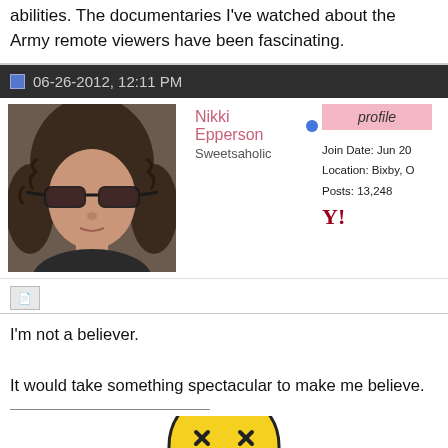abilities. The documentaries I've watched about the Army remote viewers have been fascinating.
06-26-2012, 12:11 PM
[Figure (photo): Profile photo of Nikki Epperson: woman with curly brown hair and large sunglasses]
Nikki Epperson
Sweetsaholic
profile
Join Date: Jun 20
Location: Bixby, O
Posts: 13,248
I'm not a believer.

It would take something spectacular to make me believe.
[Figure (illustration): Smiley face emoji, yellow circle with x-shaped crossed eyes, partially visible at bottom of page]